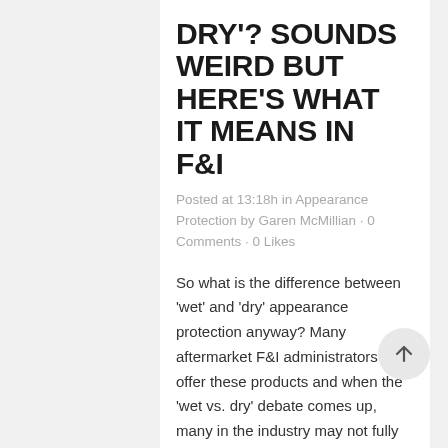DRY'? SOUNDS WEIRD BUT HERE'S WHAT IT MEANS IN F&I
Posted at 13:18h in Appearance Protection by Garen McMillian · 0 Comments · 0 Likes
So what is the difference between 'wet' and 'dry' appearance protection anyway? Many aftermarket F&I administrators offer these products and when the 'wet vs. dry' debate comes up, many in the industry may not fully understand what that means…